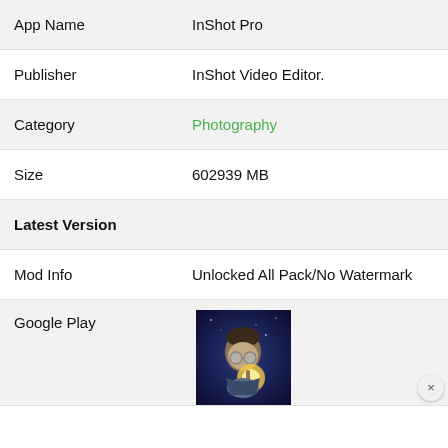| Field | Value |
| --- | --- |
| App Name | InShot Pro |
| Publisher | InShot Video Editor. |
| Category | Photography |
| Size | 602939 MB |
| Latest Version |  |
| Mod Info | Unlocked All Pack/No Watermark |
| Google Play | [image] |